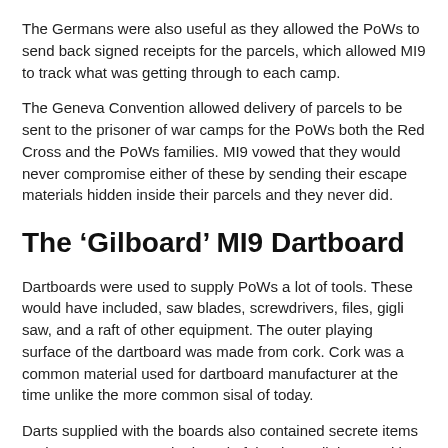The Germans were also useful as they allowed the PoWs to send back signed receipts for the parcels, which allowed MI9 to track what was getting through to each camp.
The Geneva Convention allowed delivery of parcels to be sent to the prisoner of war camps for the PoWs both the Red Cross and the PoWs families. MI9 vowed that they would never compromise either of these by sending their escape materials hidden inside their parcels and they never did.
The ‘Gilboard’ MI9 Dartboard
Dartboards were used to supply PoWs a lot of tools. These would have included, saw blades, screwdrivers, files, gigli saw, and a raft of other equipment. The outer playing surface of the dartboard was made from cork. Cork was a common material used for dartboard manufacturer at the time unlike the more common sisal of today.
Darts supplied with the boards also contained secrete items such as compasses. The barrel of the dart split in two with the help of a right-